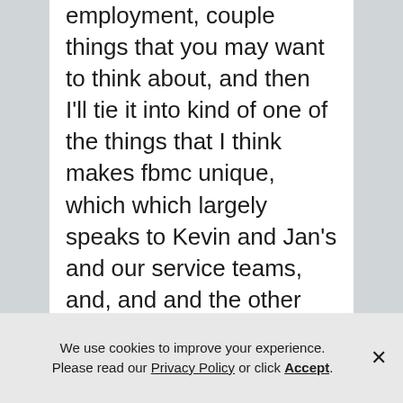employment, couple things that you may want to think about, and then I'll tie it into kind of one of the things that I think makes fbmc unique, which which largely speaks to Kevin and Jan's and our service teams, and, and and the other people we have in house and the services that they bring to bear, you really need to make sure that whoever you hire can connect organizational issues, and your goals back to Okay, here's how we can help you
We use cookies to improve your experience. Please read our Privacy Policy or click Accept.